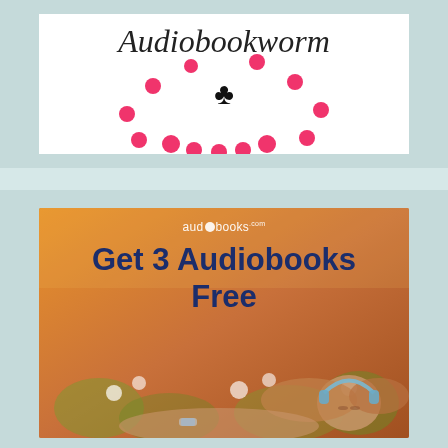[Figure (logo): Audiobookworm logo: cursive/script text 'Audiobookworm' above a club symbol (♣), surrounded by pink dots arranged in a smile/arc pattern, on white background]
[Figure (illustration): Audiobooks.com advertisement banner: orange/warm background with flowers and a young woman lying in grass wearing headphones. Text reads 'audiobooks.com' logo and 'Get 3 Audiobooks Free' in dark navy bold text.]